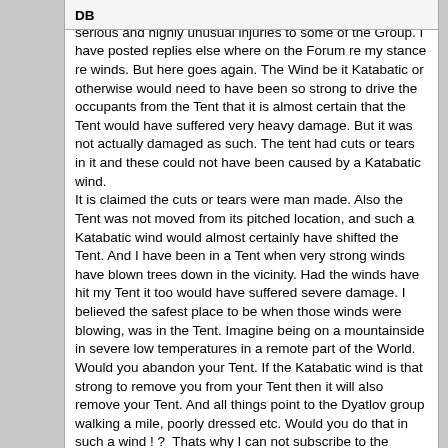believe any kind of wind played a part in some of the very serious and highly unusual injuries to some of the Group. I have posted replies else where on the Forum re my stance re winds. But here goes again. The Wind be it Katabatic or otherwise would need to have been so strong to drive the occupants from the Tent that it is almost certain that the Tent would have suffered very heavy damage. But it was not actually damaged as such. The tent had cuts or tears in it and these could not have been caused by a Katabatic wind.
It is claimed the cuts or tears were man made. Also the Tent was not moved from its pitched location, and such a Katabatic wind would almost certainly have shifted the Tent. And I have been in a Tent when very strong winds have blown trees down in the vicinity. Had the winds have hit my Tent it too would have suffered severe damage. I believed the safest place to be when those winds were blowing, was in the Tent. Imagine being on a mountainside in severe low temperatures in a remote part of the World. Would you abandon your Tent. If the Katabatic wind is that strong to remove you from your Tent then it will also remove your Tent. And all things point to the Dyatlov group walking a mile, poorly dressed etc. Would you do that in such a wind ! ? Thats why I can not subscribe to the Katabatic wind theory.
« Last Edit: February 23, 2019, 12:20:16 PM by sarapuk »   Logged
DB